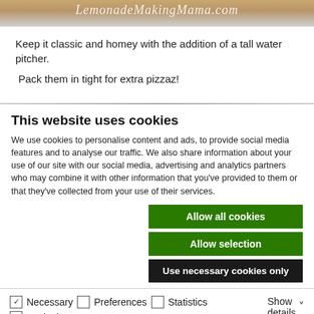[Figure (photo): Top portion of a food blog image with LemonadeMakingMama.com watermark text over a tan/brown background]
Keep it classic and homey with the addition of a tall water pitcher.
Pack them in tight for extra pizzaz!
This website uses cookies
We use cookies to personalise content and ads, to provide social media features and to analyse our traffic. We also share information about your use of our site with our social media, advertising and analytics partners who may combine it with other information that you've provided to them or that they've collected from your use of their services.
Allow all cookies
Allow selection
Use necessary cookies only
Necessary  Preferences  Statistics  Marketing  Show details